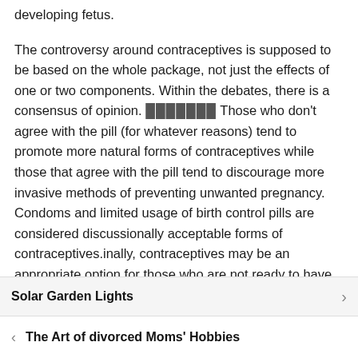developing fetus.
The controversy around contraceptives is supposed to be based on the whole package, not just the effects of one or two components. Within the debates, there is a consensus of opinion. [underlined text] Those who don't agree with the pill (for whatever reasons) tend to promote more natural forms of contraceptives while those that agree with the pill tend to discourage more invasive methods of preventing unwanted pregnancy.  Condoms and limited usage of birth control pills are considered discussionally acceptable forms of contraceptives.inally, contraceptives may be an appropriate option for those who are not ready to have children, but did not use them previously or cannot afford them. prescriptions, devices, and injections are often used, but not as frequently as oral contraceptives. Thus, they may fall under the same
Solar Garden Lights
The Art of divorced Moms' Hobbies